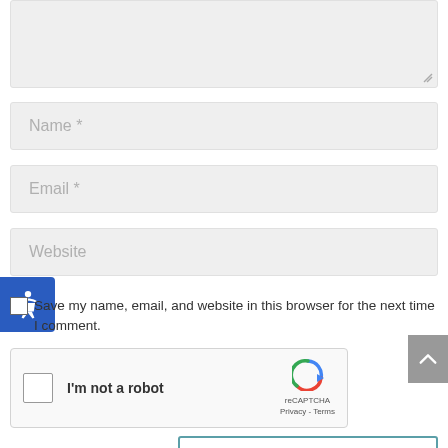[Figure (screenshot): Partially visible textarea input field with resize handle at bottom-right]
Name *
Email *
Website
Save my name, email, and website in this browser for the next time I comment.
[Figure (other): reCAPTCHA widget with checkbox labeled I'm not a robot and reCAPTCHA logo with Privacy - Terms links]
Submit Comment